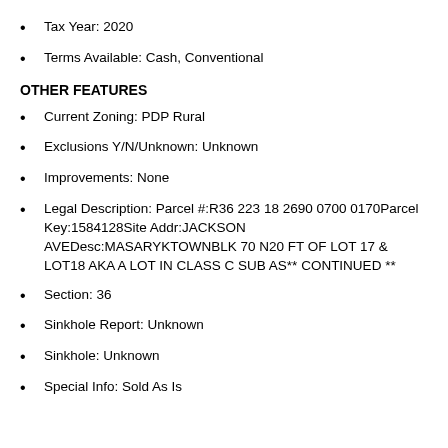Tax Year: 2020
Terms Available: Cash, Conventional
OTHER FEATURES
Current Zoning: PDP Rural
Exclusions Y/N/Unknown: Unknown
Improvements: None
Legal Description: Parcel #:R36 223 18 2690 0700 0170Parcel Key:1584128Site Addr:JACKSON AVEDesc:MASARYKTOWNBLK 70 N20 FT OF LOT 17 & LOT18 AKA A LOT IN CLASS C SUB AS** CONTINUED **
Section: 36
Sinkhole Report: Unknown
Sinkhole: Unknown
Special Info: Sold As Is